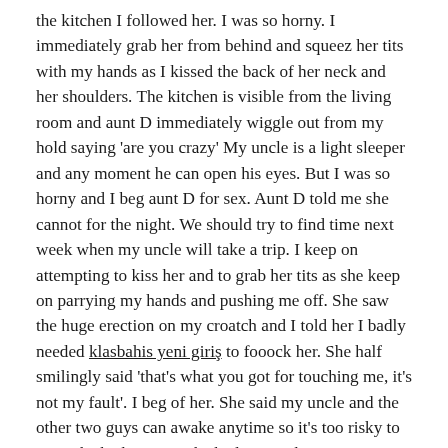the kitchen I followed her. I was so horny. I immediately grab her from behind and squeez her tits with my hands as I kissed the back of her neck and her shoulders. The kitchen is visible from the living room and aunt D immediately wiggle out from my hold saying 'are you crazy' My uncle is a light sleeper and any moment he can open his eyes. But I was so horny and I beg aunt D for sex. Aunt D told me she cannot for the night. We should try to find time next week when my uncle will take a trip. I keep on attempting to kiss her and to grab her tits as she keep on parrying my hands and pushing me off. She saw the huge erection on my croatch and I told her I badly needed klasbahis yeni giriş to fooock her. She half smilingly said 'that's what you got for touching me, it's not my fault'. I beg of her. She said my uncle and the other two guys can awake anytime so it's too risky to go to the bathroom or the bedroom. The patio is an open view from the road and the only place we can have sex is the back of the house which is open view to the neighbor but at midnight there may be no one to see us. She told me to go ahead and she will follow me.I was waiting at the back of the house for the longest